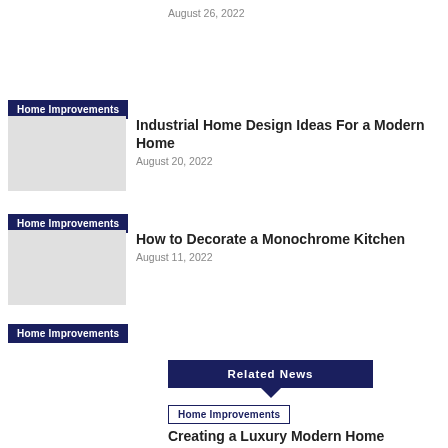August 26, 2022
Home Improvements
Industrial Home Design Ideas For a Modern Home
August 20, 2022
Home Improvements
How to Decorate a Monochrome Kitchen
August 11, 2022
Home Improvements
Related News
Home Improvements
Creating a Luxury Modern Home